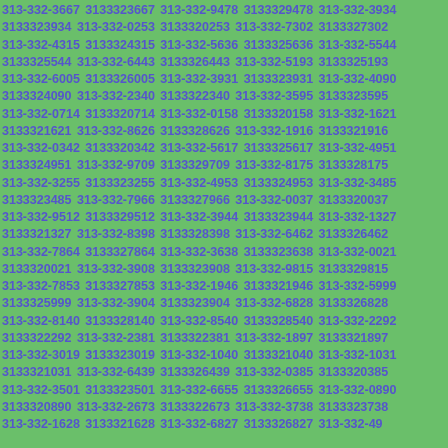313-332-3667 3133323667 313-332-9478 3133329478 313-332-3934 3133323934 313-332-0253 3133320253 313-332-7302 3133327302 313-332-4315 3133324315 313-332-5636 3133325636 313-332-5544 3133325544 313-332-6443 3133326443 313-332-5193 3133325193 313-332-6005 3133326005 313-332-3931 3133323931 313-332-4090 3133324090 313-332-2340 3133322340 313-332-3595 3133323595 313-332-0714 3133320714 313-332-0158 3133320158 313-332-1621 3133321621 313-332-8626 3133328626 313-332-1916 3133321916 313-332-0342 3133320342 313-332-5617 3133325617 313-332-4951 3133324951 313-332-9709 3133329709 313-332-8175 3133328175 313-332-3255 3133323255 313-332-4953 3133324953 313-332-3485 3133323485 313-332-7966 3133327966 313-332-0037 3133320037 313-332-9512 3133329512 313-332-3944 3133323944 313-332-1327 3133321327 313-332-8398 3133328398 313-332-6462 3133326462 313-332-7864 3133327864 313-332-3638 3133323638 313-332-0021 3133320021 313-332-3908 3133323908 313-332-9815 3133329815 313-332-7853 3133327853 313-332-1946 3133321946 313-332-5999 3133325999 313-332-3904 3133323904 313-332-6828 3133326828 313-332-8140 3133328140 313-332-8540 3133328540 313-332-2292 3133322292 313-332-2381 3133322381 313-332-1897 3133321897 313-332-3019 3133323019 313-332-1040 3133321040 313-332-1031 3133321031 313-332-6439 3133326439 313-332-0385 3133320385 313-332-3501 3133323501 313-332-6655 3133326655 313-332-0890 3133320890 313-332-2673 3133322673 313-332-3738 3133323738 313-332-1628 3133321628 313-332-6827 3133326827 313-332-49...